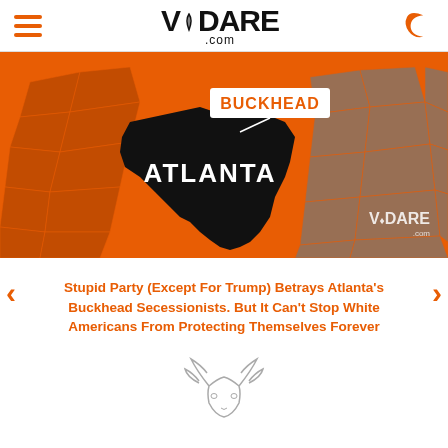VDARE .com
[Figure (map): Map graphic showing a black silhouette of Atlanta city on an orange background with fragmented US map outlines. 'BUCKHEAD' is labeled in orange text on white background at top, 'ATLANTA' in white bold text in center. VDARE logo watermark at bottom right.]
Stupid Party (Except For Trump) Betrays Atlanta's Buckhead Secessionists. But It Can't Stop White Americans From Protecting Themselves Forever
[Figure (logo): VDARE deer/antelope head outline logo in light gray]